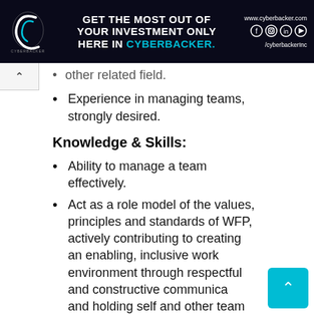[Figure (infographic): Cyberbacker advertisement banner with logo, text 'GET THE MOST OUT OF YOUR INVESTMENT ONLY HERE IN CYBERBACKER.' and social media icons, website www.cyberbacker.com and handle /cyberbackerInc]
other related field.
Experience in managing teams, strongly desired.
Knowledge & Skills:
Ability to manage a team effectively.
Act as a role model of the values, principles and standards of WFP, actively contributing to creating an enabling, inclusive work environment through respectful and constructive communication and holding self and other team